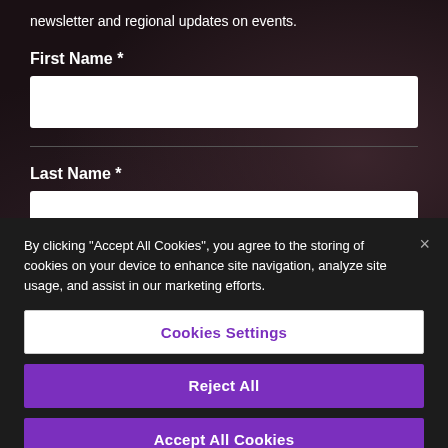newsletter and regional updates on events.
First Name *
Last Name *
Your Email Address *
By clicking “Accept All Cookies”, you agree to the storing of cookies on your device to enhance site navigation, analyze site usage, and assist in our marketing efforts.
Cookies Settings
Reject All
Accept All Cookies